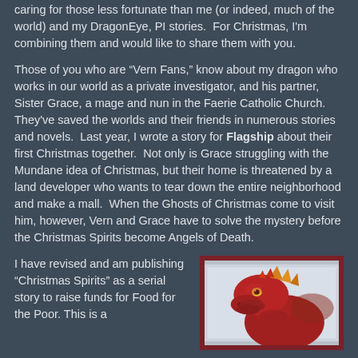caring for those less fortunate than me (or indeed, much of the world) and my DragonEye, PI stories.  For Christmas, I'm combining them and would like to share them with you.
Those of you who are “Vern Fans,” know about my dragon who works in our world as a private investigator, and his partner, Sister Grace, a mage and nun in the Faerie Catholic Church.  They've saved the worlds and their friends in numerous stories and novels.  Last year, I wrote a story for Flagship about their first Christmas together.  Not only is Grace struggling with the Mundane idea of Christmas, but their home is threatened by a land developer who wants to tear down the entire neighborhood and make a mall.  When the Ghosts of Christmas come to visit him, however, Vern and Grace have to solve the mystery before the Christmas Spirits become Angels of Death.
I have revised and am publishing “Christmas Spirits” as a serial story to raise funds for Food for the Poor. This is a
[Figure (illustration): Illustration of a red dragon head with yellow-orange ear/fin details, facing right, on a light blue-grey background with a dark red border frame.]